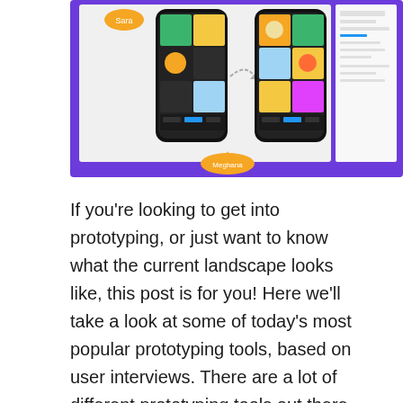[Figure (screenshot): Screenshot of a prototyping/design collaboration tool interface showing two mobile phone mockups side by side with colorful illustrated app screens, connected by an arrow, on a purple background. There are user avatars labeled 'Sara' and 'Meghana' and a panel on the right showing design properties.]
If you're looking to get into prototyping, or just want to know what the current landscape looks like, this post is for you! Here we'll take a look at some of today's most popular prototyping tools, based on user interviews. There are a lot of different prototyping tools out there, and it can be tough to know which one is right for you. To help, we've gathered data from real users to find out which tools are the most popular. Here are the results: 1. Sketch Sketch is a vector drawing and animation software